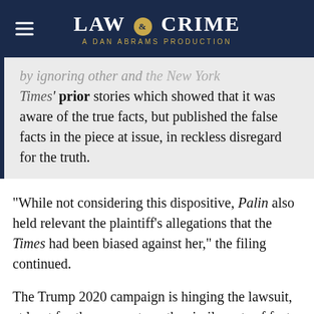LAW & CRIME — A DAN ABRAMS PRODUCTION
by ignoring other and the New York Times' prior stories which showed that it was aware of the true facts, but published the false facts in the piece at issue, in reckless disregard for the truth.
“While not considering this dispositive, Palin also held relevant the plaintiff’s allegations that the Times had been biased against her,” the filing continued.
The Trump 2020 campaign is hinging the lawsuit, at least for the moment, on the similar sets of facts